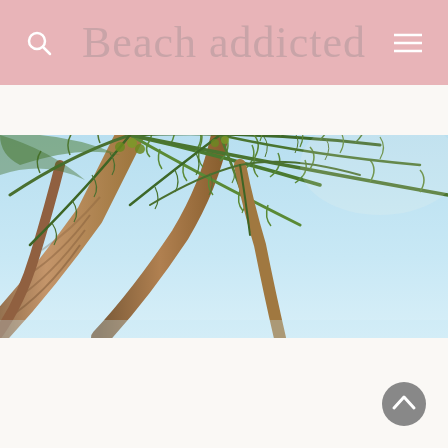Beach addicted
[Figure (photo): Upward view of tall palm trees with green fronds against a clear light blue sky, tropical beach scene]
[Figure (other): Back-to-top button, circular grey button with upward chevron arrow]